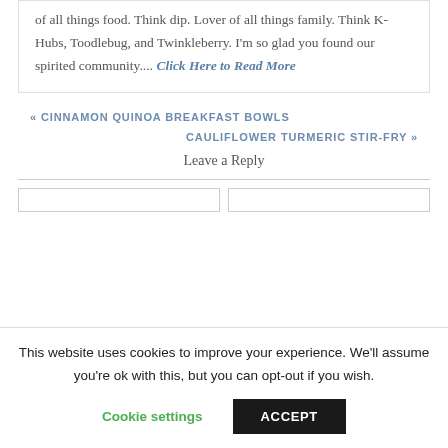of all things food. Think dip. Lover of all things family. Think K-Hubs, Toodlebug, and Twinkleberry. I'm so glad you found our spirited community.... Click Here to Read More
« CINNAMON QUINOA BREAKFAST BOWLS
CAULIFLOWER TURMERIC STIR-FRY »
Leave a Reply
This website uses cookies to improve your experience. We'll assume you're ok with this, but you can opt-out if you wish.